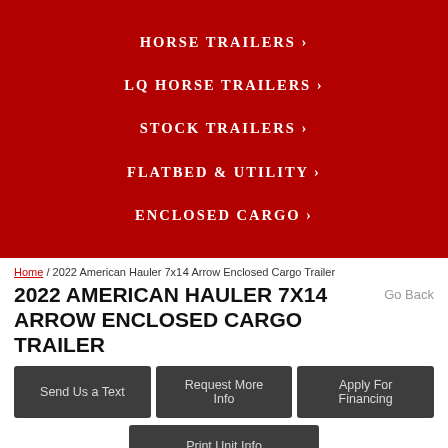HORSE TRAILERS >
LQ HORSE TRAILERS >
STOCK TRAILERS >
FLATBED & UTILITY >
ENCLOSED CARGO >
Home / 2022 American Hauler 7x14 Arrow Enclosed Cargo Trailer
2022 AMERICAN HAULER 7X14 ARROW ENCLOSED CARGO TRAILER
Go Back
Send Us a Text
Request More Info
Apply For Financing
Print Unit Info